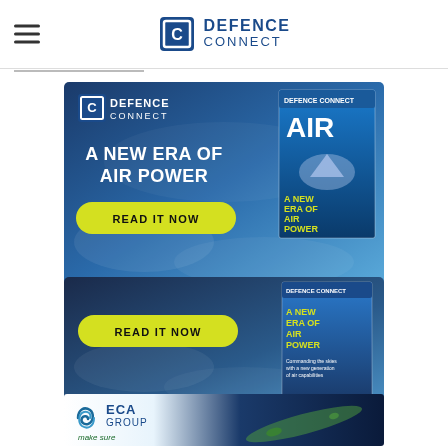[Figure (logo): Defence Connect website header with hamburger menu icon on left and Defence Connect logo (shield C icon + DEFENCE CONNECT text) centered]
[Figure (infographic): Defence Connect advertisement banner: 'A NEW ERA OF AIR POWER' with READ IT NOW yellow button and AIR magazine cover featuring fighter jet on blue cloud background]
[Figure (infographic): Second partial Defence Connect advertisement banner with READ IT NOW yellow button and AIR POWER magazine cover on dark blue background]
[Figure (infographic): ECA Group advertisement banner with logo (swirl icon + ECA GROUP text + 'make sure' tagline) and yellow torpedo/drone on dark blue ocean background]